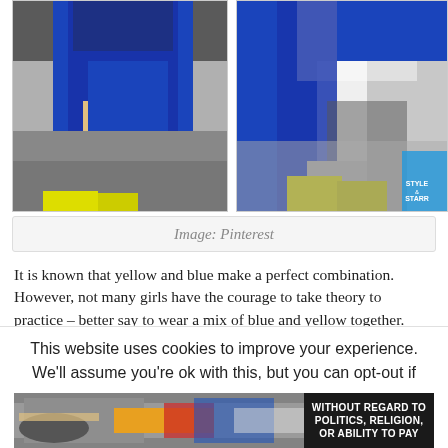[Figure (photo): Two fashion photos side by side: left photo shows a person in a royal blue dress with neon yellow heels carrying a large blue bag on a street; right photo shows a person in a royal blue outfit with yellow heeled sandals on cobblestones]
Image: Pinterest
It is known that yellow and blue make a perfect combination. However, not many girls have the courage to take theory to practice – better say to wear a mix of blue and yellow together. But, if you are a brave fashionista, then you should definitely try this royal-blue–yellow combination. You can even go a step
This website uses cookies to improve your experience. We'll assume you're ok with this, but you can opt-out if
[Figure (photo): Advertisement banner showing airplane cargo loading with text 'WITHOUT REGARD TO POLITICS, RELIGION, OR ABILITY TO PAY']